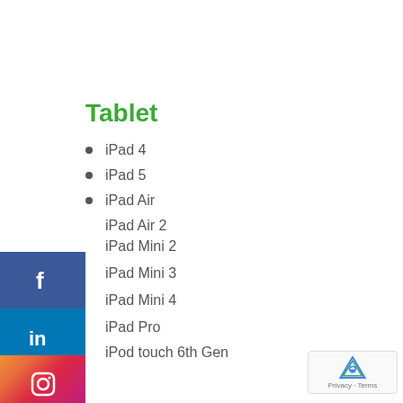Tablet
iPad 4
iPad 5
iPad Air
iPad Air 2
iPad Mini 2
iPad Mini 3
iPad Mini 4
iPad Pro
iPod touch 6th Gen
[Figure (logo): Facebook social media icon - blue square with white f]
[Figure (logo): LinkedIn social media icon - blue square with white in]
[Figure (logo): YouTube social media icon - red square with white play button]
[Figure (logo): Instagram social media icon - gradient square with white camera]
[Figure (logo): Google reCAPTCHA badge with Privacy and Terms links]